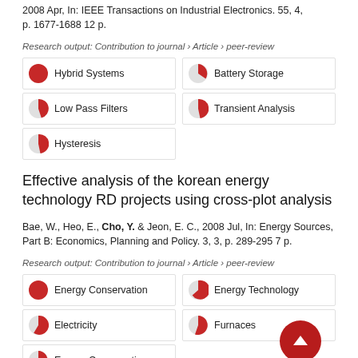2008 Apr, In: IEEE Transactions on Industrial Electronics. 55, 4, p. 1677-1688 12 p.
Research output: Contribution to journal › Article › peer-review
[Figure (infographic): Keyword badges with pie chart icons: Hybrid Systems (100%), Battery Storage (~37%), Low Pass Filters (~22%), Transient Analysis (~20%), Hysteresis (~20%)]
Effective analysis of the korean energy technology RD projects using cross-plot analysis
Bae, W., Heo, E., Cho, Y. & Jeon, E. C., 2008 Jul, In: Energy Sources, Part B: Economics, Planning and Policy. 3, 3, p. 289-295 7 p.
Research output: Contribution to journal › Article › peer-review
[Figure (infographic): Keyword badges with pie chart icons: Energy Conservation (100%), Energy Technology (~80%), Electricity (~70%), Furnaces (~63%), Energy Conservation (~62%)]